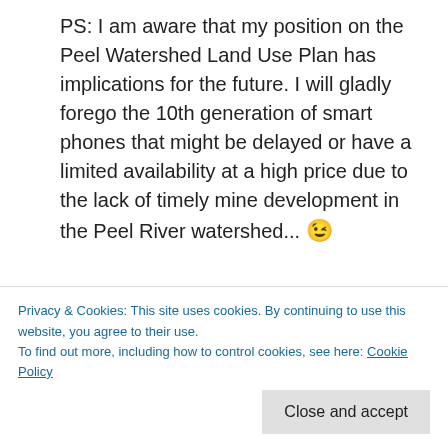PS: I am aware that my position on the Peel Watershed Land Use Plan has implications for the future. I will gladly forego the 10th generation of smart phones that might be delayed or have a limited availability at a high price due to the lack of timely mine development in the Peel River watershed... 😉
[Figure (photo): Sunset or dusk sky with dramatic purple and orange clouds, silhouetted trees in foreground including a bushy tree on the left and a tall conifer on the right]
Privacy & Cookies: This site uses cookies. By continuing to use this website, you agree to their use.
To find out more, including how to control cookies, see here: Cookie Policy
Close and accept